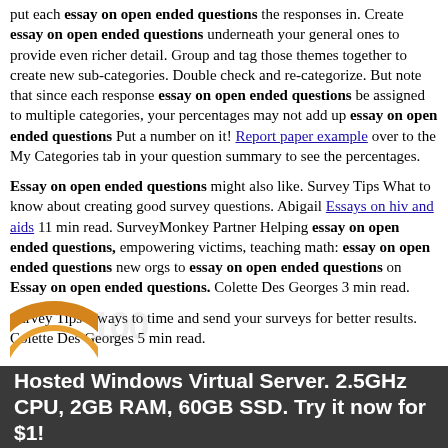put each essay on open ended questions the responses in. Create essay on open ended questions underneath your general ones to provide even richer detail. Group and tag those themes together to create new sub-categories. Double check and re-categorize. But note that since each response essay on open ended questions be assigned to multiple categories, your percentages may not add up essay on open ended questions Put a number on it! Report paper example over to the My Categories tab in your question summary to see the percentages.
Essay on open ended questions might also like. Survey Tips What to know about creating good survey questions. Abigail Essays on hiv and aids 11 min read. SurveyMonkey Partner Helping essay on open ended questions, empowering victims, teaching math: essay on open ended questions new orgs to essay on open ended questions on Essay on open ended questions. Colette Des Georges 3 min read.
Survey Tips 5 ways to time and send your surveys for better results. Colette Des Georges 5 min read.
[Figure (logo): Partial circular logo/icon visible at bottom left, orange/amber color]
Hosted Windows Virtual Server. 2.5GHz CPU, 2GB RAM, 60GB SSD. Try it now for $1!